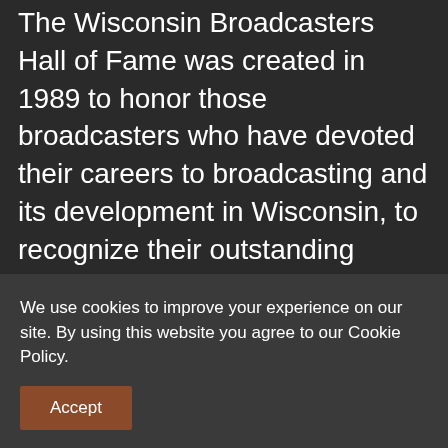The Wisconsin Broadcasters Hall of Fame was created in 1989 to honor those broadcasters who have devoted their careers to broadcasting and its development in Wisconsin, to recognize their outstanding service to broadcasting, their communities, and their state, over at least a fifteen-year career in the industry, at least ten of which were served in Wisconsin.The first twelve members of the Hall of Fame were inducted during the 1989 WBA Summer Conference. Inductees are chosen each year from among nominations by WBA members. Broadcasters who have been inducted into the Hall of Fame include managers, personalities, engineers, reporters and
We use cookies to improve your experience on our site. By using this website you agree to our Cookie Policy.
Accept